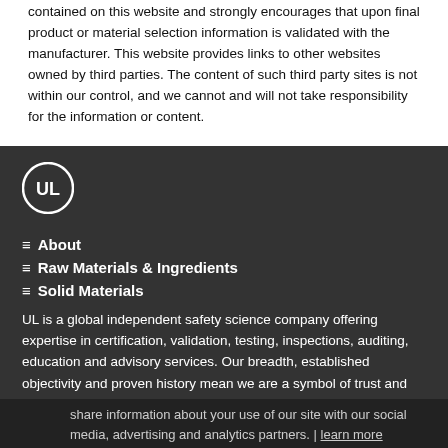contained on this website and strongly encourages that upon final product or material selection information is validated with the manufacturer. This website provides links to other websites owned by third parties. The content of such third party sites is not within our control, and we cannot and will not take responsibility for the information or content.
[Figure (logo): UL logo - circular emblem with UL text in white on dark background]
≡ About
≡ Raw Materials & Ingredients
≡ Solid Materials
UL is a global independent safety science company offering expertise in certification, validation, testing, inspections, auditing, education and advisory services. Our breadth, established objectivity and proven history mean we are a symbol of trust and enable us to help provide peace of mind to all.
Learn More
share information about your use of our site with our social media, advertising and analytics partners. | learn more